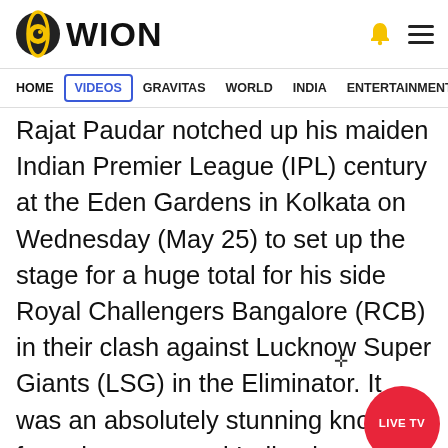WION
HOME | VIDEOS | GRAVITAS | WORLD | INDIA | ENTERTAINMENT | SPORTS
Rajat Paudar notched up his maiden Indian Premier League (IPL) century at the Eden Gardens in Kolkata on Wednesday (May 25) to set up the stage for a huge total for his side Royal Challengers Bangalore (RCB) in their clash against Lucknow Super Giants (LSG) in the Eliminator. It was an absolutely stunning knock from the uncapped Indian batter, who took the LSG spinners to the cleaners during his knock before bringing up his ton with a huge six against fast bowler Mohsin Khan in the last over of RCB's innings.